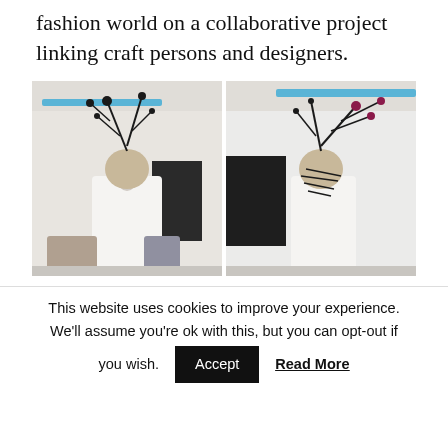fashion world on a collaborative project linking craft persons and designers.
[Figure (photo): Two side-by-side photos of a woman from behind and side wearing an elaborate black sculptural headpiece/fascinator with branching elements, dressed in a white backless outfit, in an indoor setting with other people visible.]
This website uses cookies to improve your experience. We'll assume you're ok with this, but you can opt-out if you wish. Accept  Read More